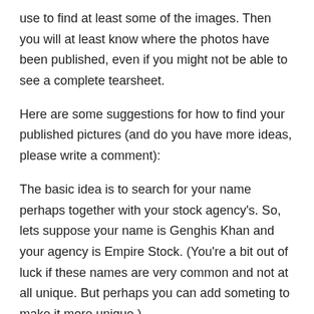use to find at least some of the images. Then you will at least know where the photos have been published, even if you might not be able to see a complete tearsheet.
Here are some suggestions for how to find your published pictures (and do you have more ideas, please write a comment):
The basic idea is to search for your name perhaps together with your stock agency's. So, lets suppose your name is Genghis Khan and your agency is Empire Stock. (You're a bit out of luck if these names are very common and not at all unique. But perhaps you can add someting to make it more unique.)
Google